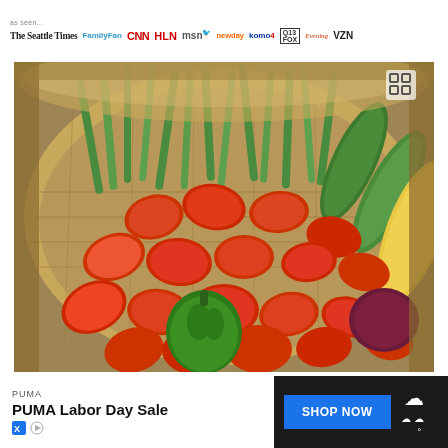[Figure (logo): Media logos banner: as seen on The Seattle Times, FamilyFan, CNN, HLN, msn, newday, komo 4, FOX, Evening (Magazine), VIN]
[Figure (photo): Wicker basket filled with fresh garden vegetables including green beans, roma tomatoes, zucchini, yellow squash, green bell pepper, and dark heirloom tomato]
[Figure (infographic): Advertisement bar: PUMA Labor Day Sale with SHOP NOW button and weather widget showing temperature]